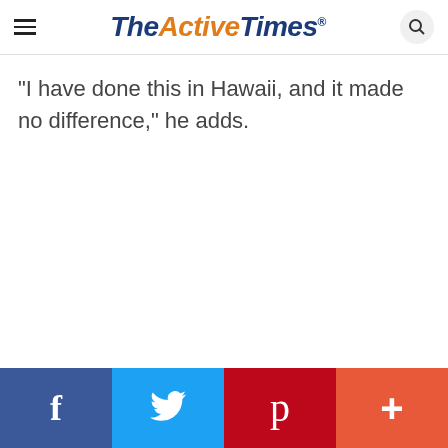TheActiveTimes
“I have done this in Hawaii, and it made no difference,” he adds.
[Figure (other): Social sharing bar with Facebook, Twitter, Pinterest, and More buttons at the bottom of the page]